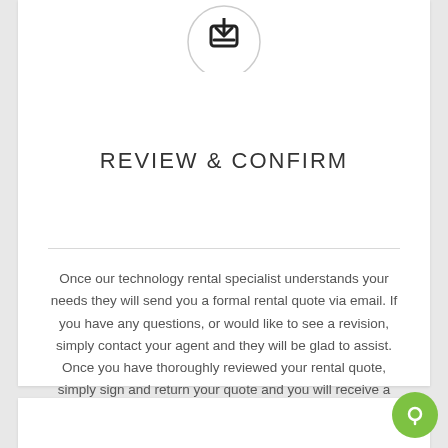[Figure (illustration): Circular icon with a download/inbox arrow symbol at the top of the card]
REVIEW & CONFIRM
Once our technology rental specialist understands your needs they will send you a formal rental quote via email. If you have any questions, or would like to see a revision, simply contact your agent and they will be glad to assist. Once you have thoroughly reviewed your rental quote, simply sign and return your quote and you will receive a prompt "thank you", and a confirmation, that your Syracuse technology order has been booked.
[Figure (illustration): Green circular chat/support button in the bottom-right corner]